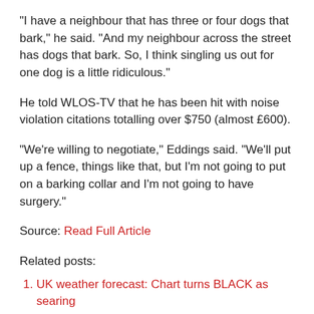"I have a neighbour that has three or four dogs that bark," he said. "And my neighbour across the street has dogs that bark. So, I think singling us out for one dog is a little ridiculous."
He told WLOS-TV that he has been hit with noise violation citations totalling over $750 (almost £600).
“We’re willing to negotiate,” Eddings said. “We’ll put up a fence, things like that, but I’m not going to put on a barking collar and I’m not going to have surgery.”
Source: Read Full Article
Related posts:
UK weather forecast: Chart turns BLACK as searing 33C heatwave strikes in 48-hour blitz